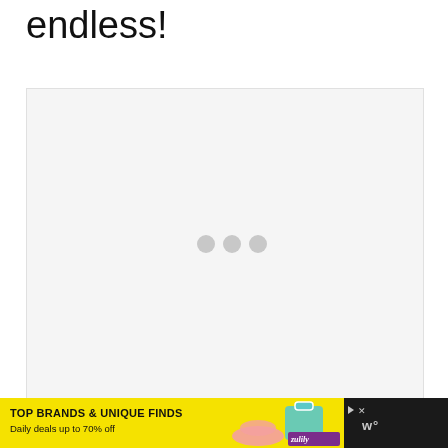endless!
[Figure (other): Large white/light gray content placeholder box with three gray loading dots centered in the middle, indicating a loading state]
[Figure (other): Advertisement banner for Zulily: yellow background with text 'TOP BRANDS & UNIQUE FINDS' and 'Daily deals up to 70% off', with shoe and bag product images, Zulily logo in purple, and ad controls on dark background on the right]